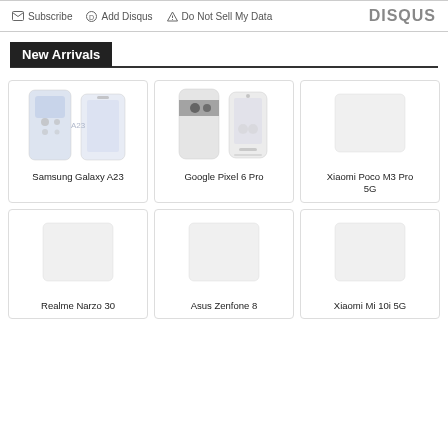Subscribe  Add Disqus  Do Not Sell My Data  DISQUS
New Arrivals
[Figure (photo): Samsung Galaxy A23 phone product image showing front and back views]
Samsung Galaxy A23
[Figure (photo): Google Pixel 6 Pro phone product image showing front and back views]
Google Pixel 6 Pro
[Figure (photo): Xiaomi Poco M3 Pro 5G phone product image placeholder]
Xiaomi Poco M3 Pro 5G
[Figure (photo): Realme Narzo 30 phone product image placeholder]
Realme Narzo 30
[Figure (photo): Asus Zenfone 8 phone product image placeholder]
Asus Zenfone 8
[Figure (photo): Xiaomi Mi 10i 5G phone product image placeholder]
Xiaomi Mi 10i 5G